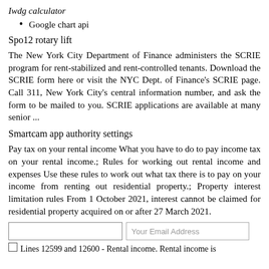Iwdg calculator
Google chart api
Spo12 rotary lift
The New York City Department of Finance administers the SCRIE program for rent-stabilized and rent-controlled tenants. Download the SCRIE form here or visit the NYC Dept. of Finance's SCRIE page. Call 311, New York City's central information number, and ask the form to be mailed to you. SCRIE applications are available at many senior ...
Smartcam app authority settings
Pay tax on your rental income What you have to do to pay income tax on your rental income.; Rules for working out rental income and expenses Use these rules to work out what tax there is to pay on your income from renting out residential property.; Property interest limitation rules From 1 October 2021, interest cannot be claimed for residential property acquired on or after 27 March 2021.
Lines 12599 and 12600 - Rental income. Rental income is